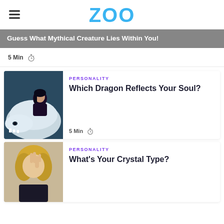ZOO
Guess What Mythical Creature Lies Within You!
5 Min
[Figure (photo): A girl resting against a large white dragon-like creature in a dark fantasy scene]
PERSONALITY
Which Dragon Reflects Your Soul?
5 Min
[Figure (photo): A blonde woman with curly hair holding up her hand, mystical scene]
PERSONALITY
What's Your Crystal Type?